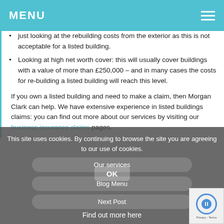MENU
just looking at the rebuilding costs from the exterior as this is not acceptable for a listed building.
Looking at high net worth cover: this will usually cover buildings with a value of more than £250,000 – and in many cases the costs for re-building a listed building will reach this level.
If you own a listed building and need to make a claim, then Morgan Clark can help. We have extensive experience in listed buildings claims: you can find out more about our services by visiting our business insurance claims pages.
This site uses cookies. By continuing to browse the site you are agreeing to our use of cookies.
OK
Blog Menu
Next Post
Find out more here